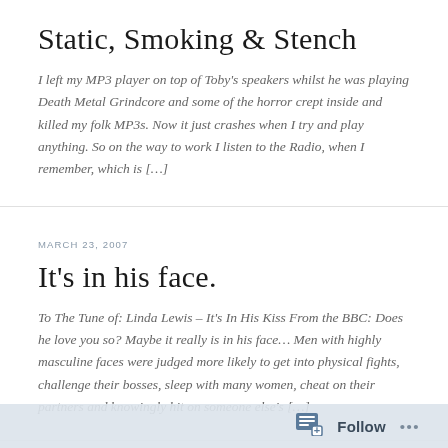Static, Smoking & Stench
I left my MP3 player on top of Toby's speakers whilst he was playing Death Metal Grindcore and some of the horror crept inside and killed my folk MP3s. Now it just crashes when I try and play anything. So on the way to work I listen to the Radio, when I remember, which is […]
MARCH 23, 2007
It's in his face.
To The Tune of: Linda Lewis – It's In His Kiss From the BBC: Does he love you so? Maybe it really is in his face… Men with highly masculine faces were judged more likely to get into physical fights, challenge their bosses, sleep with many women, cheat on their partners and knowingly hit on someone else's […]
MARCH 23, 2007